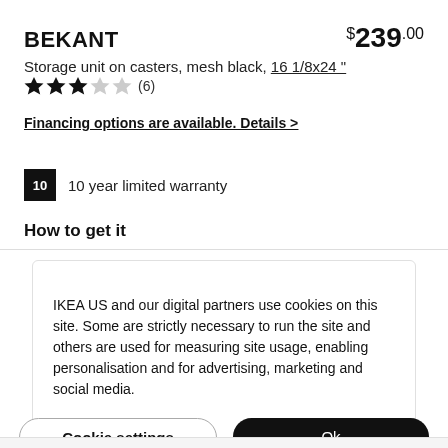BEKANT
$239.00
Storage unit on casters, mesh black, 16 1/8x24 "
★★★☆☆ (6)
Financing options are available. Details >
10  10 year limited warranty
How to get it
IKEA US and our digital partners use cookies on this site. Some are strictly necessary to run the site and others are used for measuring site usage, enabling personalisation and for advertising, marketing and social media.
Cookie settings
Ok